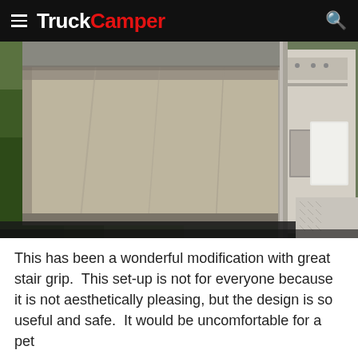TruckCamper
[Figure (photo): Close-up photo of a truck camper step modification with a canvas/fabric cover wrapped around the steps, showing metal hardware and a diamond-plate surface in the background.]
This has been a wonderful modification with great stair grip.  This set-up is not for everyone because it is not aesthetically pleasing, but the design is so useful and safe.  It would be uncomfortable for a pet